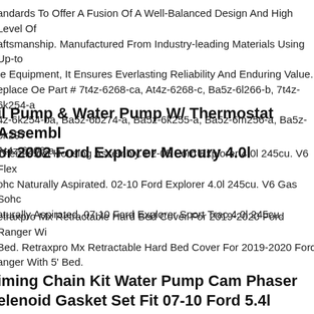andards To Offer A Fusion Of A Well-Balanced Design And High Level Of aftsmanship. Manufactured From Industry-leading Materials Using Up-to te Equipment, It Ensures Everlasting Reliability And Enduring Value. eplace Oe Part # 7t4z-6268-ca, At4z-6268-c, Ba5z-6l266-b, 7t4z-6k254-a 4z-6k254-ba, Ba5z-6b274-a, Ba5z-6k255-a, Ba5z-6m256-a, Ba5z-6k297 At4z-6306-a.
il Pump & Water Pump W/ Thermostat Assembl or 2002 Ford Explorer Mercury 4.0l
Thermostat Housing Assembly. 02-05 Ford Explorer 4.0l 245cu. V6 Flex ohc Naturally Aspirated. 02-10 Ford Explorer 4.0l 245cu. V6 Gas Sohc aturally Aspirated. 07,10 Ford Explorer Sport Trac 4.0l 245cu.
etraxpro Mx Retractable Hard Bed Cover For 2019-2020 Ford Ranger Wi Bed. Retraxpro Mx Retractable Hard Bed Cover For 2019-2020 Ford anger With 5' Bed.
iming Chain Kit Water Pump Cam Phaser elenoid Gasket Set Fit 07-10 Ford 5.4l